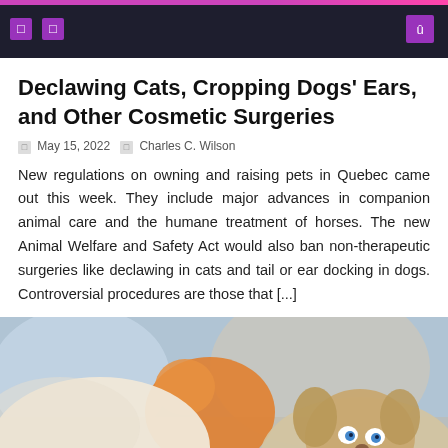Navigation bar with icons and search button
Declawing Cats, Cropping Dogs' Ears, and Other Cosmetic Surgeries
May 15, 2022   Charles C. Wilson
New regulations on owning and raising pets in Quebec came out this week. They include major advances in companion animal care and the humane treatment of horses. The new Animal Welfare and Safety Act would also ban non-therapeutic surgeries like declawing in cats and tail or ear docking in dogs. Controversial procedures are those that [...]
[Figure (photo): A puppy lying on its back playing with a stuffed orange toy, looking up at the camera with blue eyes. Blurred background.]